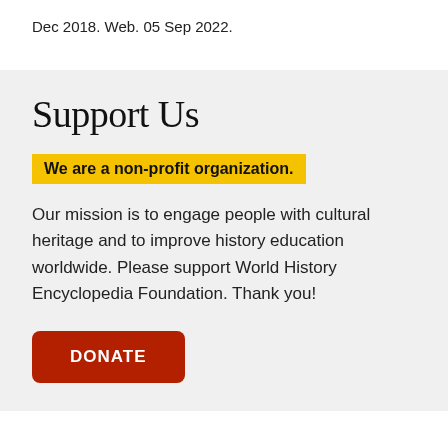Dec 2018. Web. 05 Sep 2022.
Support Us
We are a non-profit organization.
Our mission is to engage people with cultural heritage and to improve history education worldwide. Please support World History Encyclopedia Foundation. Thank you!
DONATE